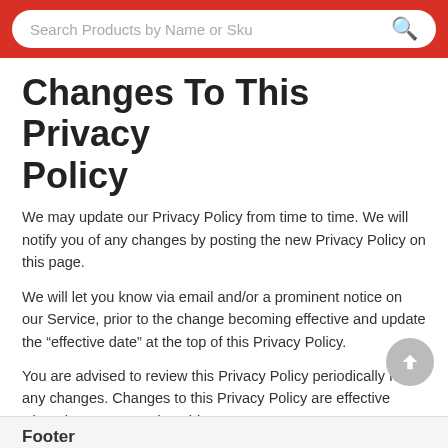Search Products by Name or Sku
Changes To This Privacy Policy
We may update our Privacy Policy from time to time. We will notify you of any changes by posting the new Privacy Policy on this page.
We will let you know via email and/or a prominent notice on our Service, prior to the change becoming effective and update the “effective date” at the top of this Privacy Policy.
You are advised to review this Privacy Policy periodically for any changes. Changes to this Privacy Policy are effective when they are posted on this page.
Contact Us
If you have any questions about this Privacy Policy, please contact us:
By email: support@qtinet.com
Footer